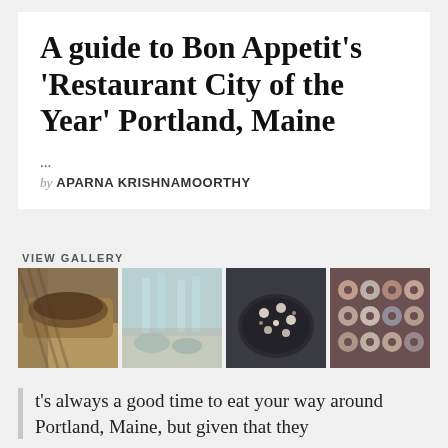A guide to Bon Appetit's 'Restaurant City of the Year' Portland, Maine
...
by APARNA KRISHNAMOORTHY
VIEW GALLERY
[Figure (photo): Four food photos in a horizontal gallery row: a sandwich/snack, oysters on ice, a dark plate with decorative garnishes, and rows of donuts.]
t's always a good time to eat your way around Portland, Maine, but given that they